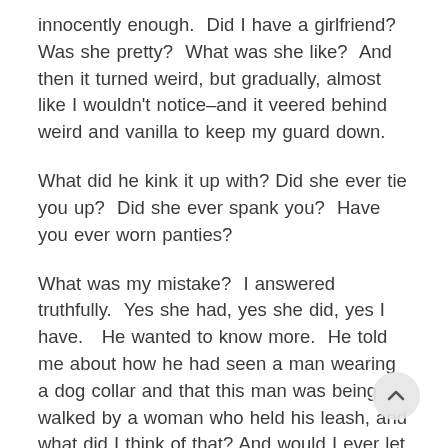innocently enough.  Did I have a girlfriend?  Was she pretty?  What was she like?  And then it turned weird, but gradually, almost like I wouldn't notice–and it veered behind weird and vanilla to keep my guard down.
What did he kink it up with? Did she ever tie you up?  Did she ever spank you?  Have you ever worn panties?
What was my mistake?  I answered truthfully.  Yes she had, yes she did, yes I have.   He wanted to know more.  He told me about how he had seen a man wearing a dog collar and that this man was being walked by a woman who held his leash, and what did I think of that? And would I ever let a woman do that me? And would I like that? What did I think it would be like to wear a collar? Did I know that some men wear